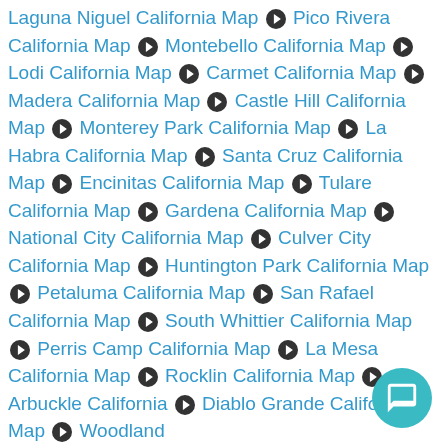Laguna Niguel California Map ❯ Pico Rivera California Map ❯ Montebello California Map ❯ Lodi California Map ❯ Carmet California Map ❯ Madera California Map ❯ Castle Hill California Map ❯ Monterey Park California Map ❯ La Habra California Map ❯ Santa Cruz California Map ❯ Encinitas California Map ❯ Tulare California Map ❯ Gardena California Map ❯ National City California Map ❯ Culver City California Map ❯ Huntington Park California Map ❯ Petaluma California Map ❯ San Rafael California Map ❯ South Whittier California Map ❯ Perris Camp California Map ❯ La Mesa California Map ❯ Rocklin California Map ❯ Arbuckle California ❯ Diablo Grande California Map ❯ Woodland